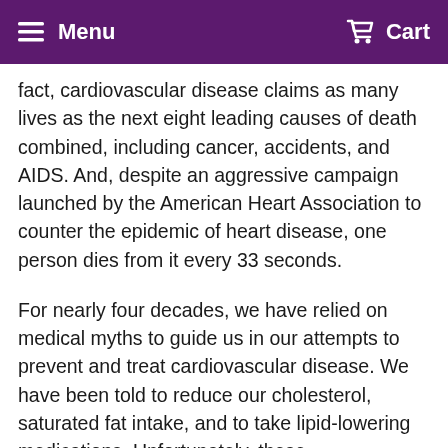Menu  Cart
fact, cardiovascular disease claims as many lives as the next eight leading causes of death combined, including cancer, accidents, and AIDS. And, despite an aggressive campaign launched by the American Heart Association to counter the epidemic of heart disease, one person dies from it every 33 seconds.
For nearly four decades, we have relied on medical myths to guide us in our attempts to prevent and treat cardiovascular disease. We have been told to reduce our cholesterol, saturated fat intake, and to take lipid-lowering medications. Unfortunately, these recommendations have been shown to actually increase the risk of premature death, suicide, senile dementia, heart attack, strokes, and death. The material in this book comes directly from medical journals, including the New England Journal of